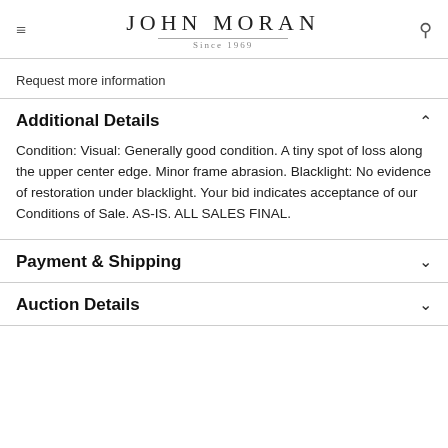JOHN MORAN Since 1969
Request more information
Additional Details
Condition: Visual: Generally good condition. A tiny spot of loss along the upper center edge. Minor frame abrasion. Blacklight: No evidence of restoration under blacklight. Your bid indicates acceptance of our Conditions of Sale. AS-IS. ALL SALES FINAL.
Payment & Shipping
Auction Details